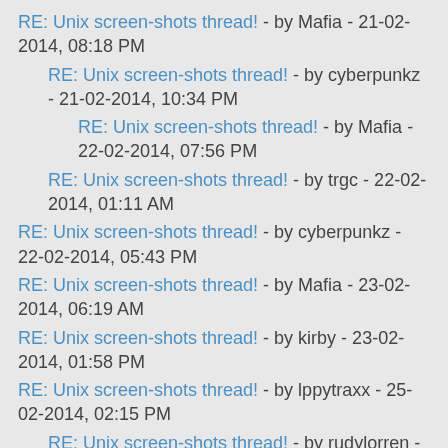RE: Unix screen-shots thread! - by Mafia - 21-02-2014, 08:18 PM
RE: Unix screen-shots thread! - by cyberpunkz - 21-02-2014, 10:34 PM
RE: Unix screen-shots thread! - by Mafia - 22-02-2014, 07:56 PM
RE: Unix screen-shots thread! - by trgc - 22-02-2014, 01:11 AM
RE: Unix screen-shots thread! - by cyberpunkz - 22-02-2014, 05:43 PM
RE: Unix screen-shots thread! - by Mafia - 23-02-2014, 06:19 AM
RE: Unix screen-shots thread! - by kirby - 23-02-2014, 01:58 PM
RE: Unix screen-shots thread! - by lppytraxx - 25-02-2014, 02:15 PM
RE: Unix screen-shots thread! - by rudylorren - 25-02-2014, 11:52 PM
RE: Unix screen-shots thread! - by jmbi - 26-02-2014, 12:35 AM
RE: Unix screen-shots thread! - by rudylorren - 26-02-